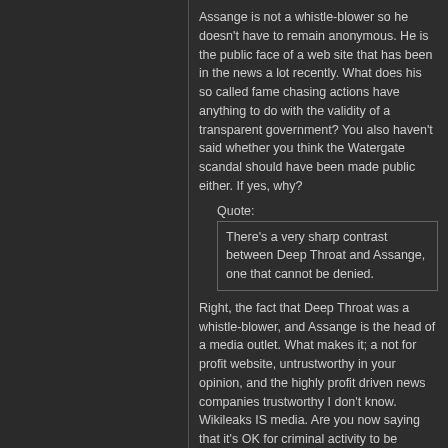Assange is not a whistle-blower so he doesn't have to remain anonymous. He is the public face of a web site that has been in the news a lot recently. What does his so called fame chasing actions have anything to do with the validity of a transparent government? You also haven't said whether you think the Watergate scandal should have been made public either. If yes, why?
Quote:
There's a very sharp contrast between Deep Throat and Assange, one that cannot be denied.
Right, the fact that Deep Throat was a whistle-blower, and Assange is the head of a media outlet. What makes it; a not for profit website, untrustworthy in your opinion, and the highly profit driven news companies trustworthy I don't know. Wikileaks IS media. Are you now saying that it's OK for criminal activity to be brought out to the public so long as it's in a newspaper first?
Quote:
Looks like that is a military secret to me, it is classified, it is designed to help get support from other countries, and yet now, thanks to some espionage (exposing classified documents about strategies can be called nothing else you see) this particular strategy has been compromised. Why did the whistle need